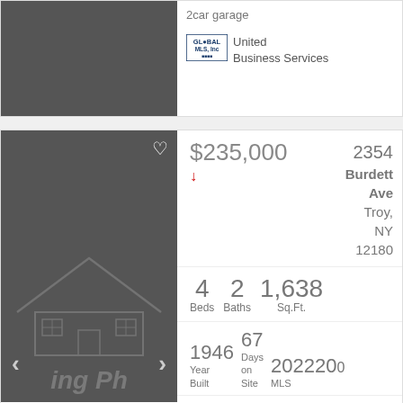2car garage
[Figure (logo): GLOBAL MLS Inc logo]
United Business Services
[Figure (photo): Dark grey placeholder house photo with heart icon and navigation arrows]
2354 Burdett Ave Troy, NY 12180
$235,000
4 Beds  2 Baths  1,638 Sq.Ft.
1946 Year Built  67 Days on Site  2022200 MLS
Perfect starter home